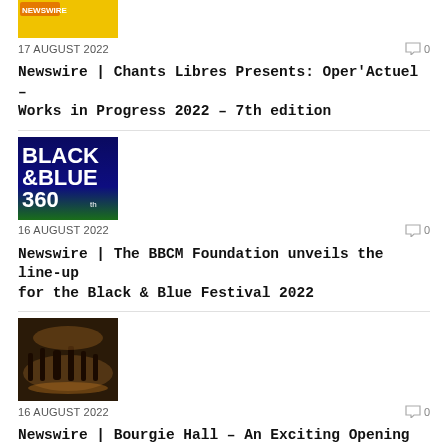[Figure (photo): Partial thumbnail at top, yellow/orange background with text]
17 AUGUST 2022
0
Newswire | Chants Libres Presents: Oper'Actuel – Works in Progress 2022 – 7th edition
[Figure (photo): Black & Blue 360 festival logo on dark blue and green background]
16 AUGUST 2022
0
Newswire | The BBCM Foundation unveils the line-up for the Black & Blue Festival 2022
[Figure (photo): Orchestra musicians performing on a stage with warm lighting]
16 AUGUST 2022
0
Newswire | Bourgie Hall – An Exciting Opening to the 2022-2023 Season!